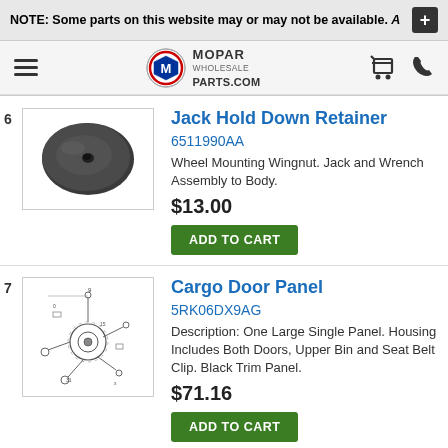NOTE: Some parts on this website may or may not be available. A
[Figure (logo): Mopar Wholesale Parts.com logo with M emblem circle]
Jack Hold Down Retainer
6511990AA
Wheel Mounting Wingnut. Jack and Wrench Assembly to Body.
$13.00
[Figure (photo): Oval-shaped dark metal jack hold down retainer part]
ADD TO CART
Cargo Door Panel
5RK06DX9AG
Description: One Large Single Panel. Housing Includes Both Doors, Upper Bin and Seat Belt Clip. Black Trim Panel.
$71.16
[Figure (illustration): Technical diagram of cargo door panel components]
ADD TO CART